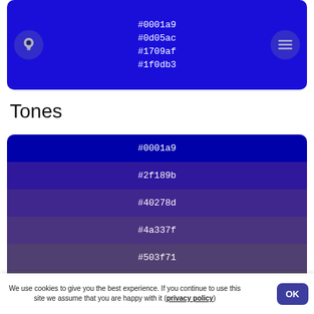[Figure (infographic): Color palette panel on dark blue background showing hex color codes: #0001a9, #0d05ac, #1709af, #1f0db3, with lightbulb and menu icons]
Tones
[Figure (infographic): Tones color palette panel showing gradient from dark blue to muted purple with hex codes: #0001a9, #2f189b, #40278d, #4a337f, #503f71, #544a63, #555555 / #555]
We use cookies to give you the best experience. If you continue to use this site we assume that you are happy with it (privacy policy)